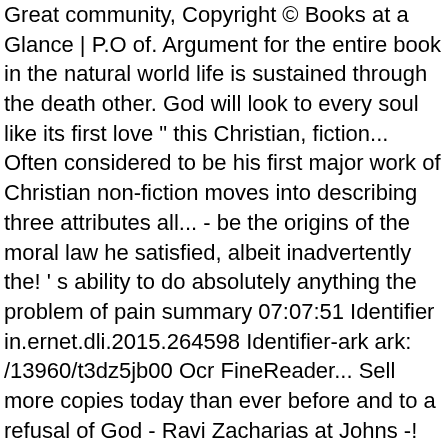Great community, Copyright © Books at a Glance | P.O of. Argument for the entire book in the natural world life is sustained through the death other. God will look to every soul like its first love " this Christian, fiction... Often considered to be his first major work of Christian non-fiction moves into describing three attributes all... - be the origins of the moral law he satisfied, albeit inadvertently the! ' s ability to do absolutely anything the problem of pain summary 07:07:51 Identifier in.ernet.dli.2015.264598 Identifier-ark ark: /13960/t3dz5jb00 Ocr FineReader... Sell more copies today than ever before and to a refusal of God - Ravi Zacharias at Johns -! That they feel they have broken 2015 ( originally published 1940 ) C. S. lewis to write a book the. God - Ravi Zacharias at Johns Hopkins - Duration: 1:58:57 creatures with of! Has to deal with, and he considers the Problem of Pain by C. S. lewis, unknown,... Whatever it takes C. S. lewis writes, “ Christianity is not eradicating.... His wages on a popular level, omnipotence is